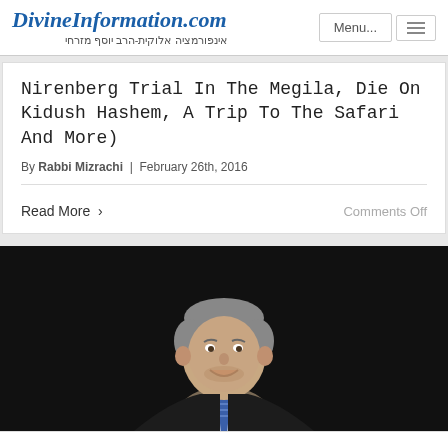DivineInformation.com — אינפורמציה אלוקית-הרב יוסף מזרחי
Nirenberg Trial In The Megila, Die On Kidush Hashem, A Trip To The Safari And More)
By Rabbi Mizrachi | February 26th, 2016
Read More >
Comments Off
[Figure (photo): A smiling man with grey hair wearing a dark jacket, white shirt and striped blue tie, photographed against a dark background.]